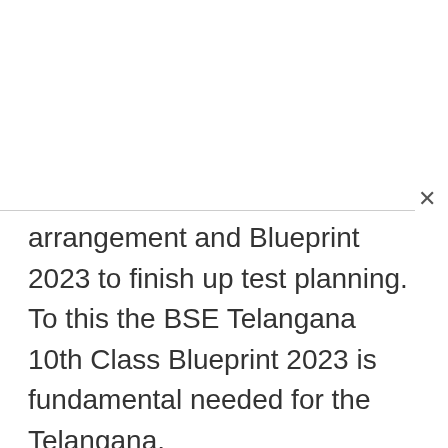arrangement and Blueprint 2023 to finish up test planning. To this the BSE Telangana 10th Class Blueprint 2023 is fundamental needed for the Telangana.